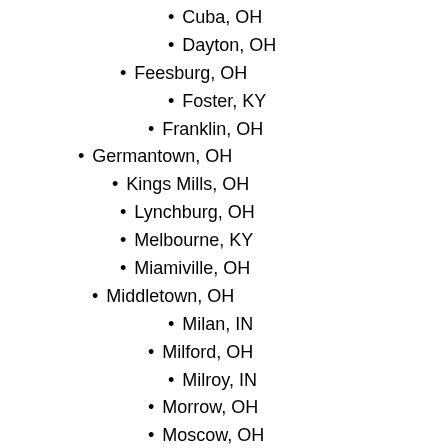Cuba, OH
Dayton, OH
Feesburg, OH
Foster, KY
Franklin, OH
Germantown, OH
Kings Mills, OH
Lynchburg, OH
Melbourne, KY
Miamiville, OH
Middletown, OH
Milan, IN
Milford, OH
Milroy, IN
Morrow, OH
Moscow, OH
Neville, OH
New Lisbon, IN
North Bend, OH
Oregonia, OH
Palestine, OH
Pitsburg, OH